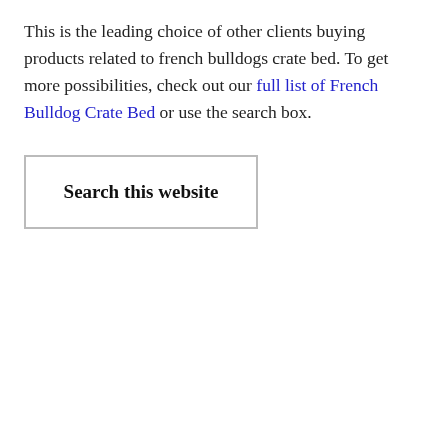This is the leading choice of other clients buying products related to french bulldogs crate bed. To get more possibilities, check out our full list of French Bulldog Crate Bed or use the search box.
[Figure (other): Search box widget with bold text 'Search this website' inside a rectangular border]